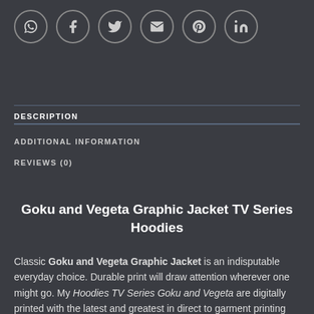[Figure (other): Row of six social media icon circles: WhatsApp, Facebook, Twitter, Email, Pinterest, LinkedIn]
DESCRIPTION
ADDITIONAL INFORMATION
REVIEWS (0)
Goku and Vegeta Graphic Jacket TV Series Hoodies
Classic Goku and Vegeta Graphic Jacket is an indisputable everyday choice. Durable print will draw attention wherever one might go. My Hoodies TV Series Goku and Vegeta are digitally printed with the latest and greatest in direct to garment printing technology. Digital printing delivers a